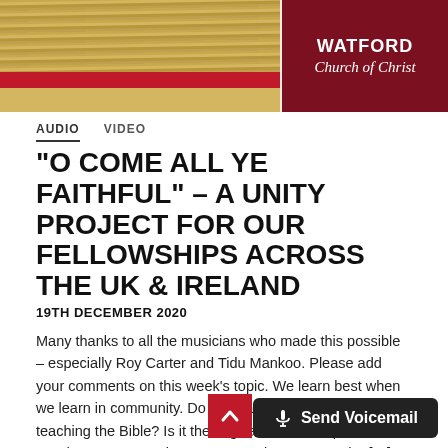[Figure (photo): Top banner with two brooms/brushes with red bands on the left, and a dark red box with 'WATFORD Church of Christ' text on the right]
AUDIO   VIDEO
“O COME ALL YE FAITHFUL” – A UNITY PROJECT FOR OUR FELLOWSHIPS ACROSS THE UK & IRELAND
19TH DECEMBER 2020
Many thanks to all the musicians who made this possible – especially Roy Carter and Tidu Mankoo. Please add your comments on this week’s topic. We learn best when we learn in community. Do you have a question about teaching the Bible? Is it theological, technical, practical? Send me your questions or suggestions. Here’s the […]